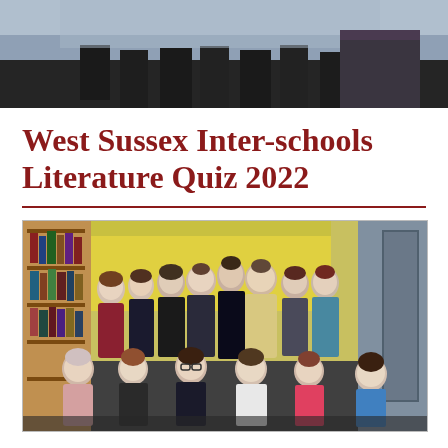[Figure (photo): Top portion of a photo showing people standing, cropped — only lower bodies/legs visible against a grey background]
West Sussex Inter-schools Literature Quiz 2022
[Figure (photo): Group photo of approximately 14 students (middle school age) in a school library with yellow walls and bookshelves. Front row seated, back row standing. Students smiling at camera.]